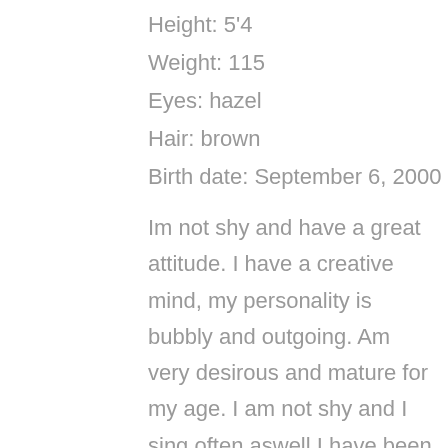Height: 5'4
Weight: 115
Eyes: hazel
Hair: brown
Birth date: September 6, 2000
Im not shy and have a great attitude. I have a creative mind, my personality is bubbly and outgoing. Am very desirous and mature for my age. I am not shy and I sing often aswell I have been dancing for 10 years so choreography will be no problem for me. Iv been playing piano for two years now and aswell play the violin. I love action, comedy, and adventure and I would love to be
[Figure (infographic): Vertical column of social media share icons: Facebook (blue circle with f), Twitter (blue circle with bird), WhatsApp (green circle with phone), Email (green circle with envelope), and a back arrow icon below]